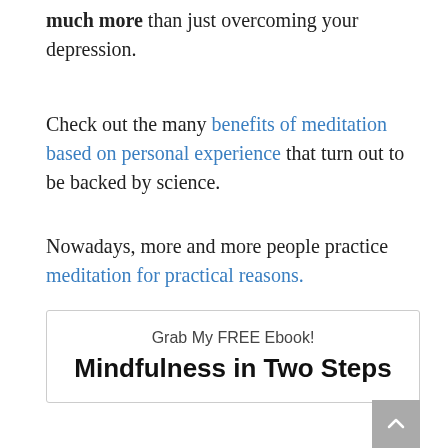much more than just overcoming your depression.
Check out the many benefits of meditation based on personal experience that turn out to be backed by science.
Nowadays, more and more people practice meditation for practical reasons.
Grab My FREE Ebook!
Mindfulness in Two Steps